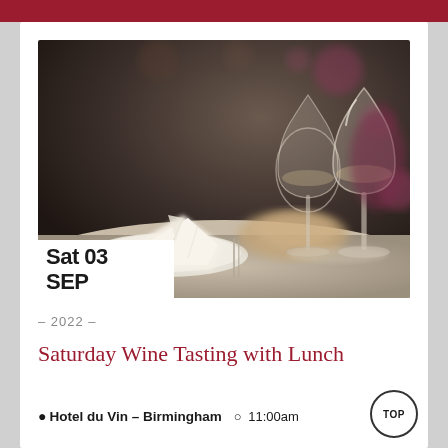[Figure (photo): Restaurant table setting with white folded napkin on a plate and two elegant wine glasses, soft bokeh background with warm lighting]
Sat 03 SEP
– 2022 –
Saturday Wine Tasting with Lunch
Hotel du Vin – Birmingham  11:00am